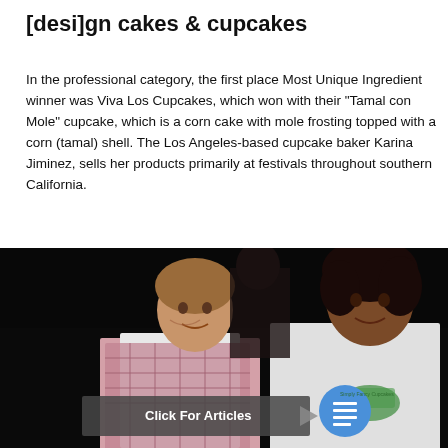[desi]gn cakes & cupcakes
In the professional category, the first place Most Unique Ingredient winner was Viva Los Cupcakes, which won with their “Tamal con Mole” cupcake, which is a corn cake with mole frosting topped with a corn (tamal) shell. The Los Angeles-based cupcake baker Karina Jiminez, sells her products primarily at festivals throughout southern California.
[Figure (photo): Two women smiling at the camera in what appears to be an event or festival setting. The woman on the left is wearing a white shirt with a pink plaid apron. The woman on the right is wearing a white t-shirt with a green tractor graphic. There is a 'Click For Articles' overlay button with an arrow and a blue circle icon with a document/menu symbol.]